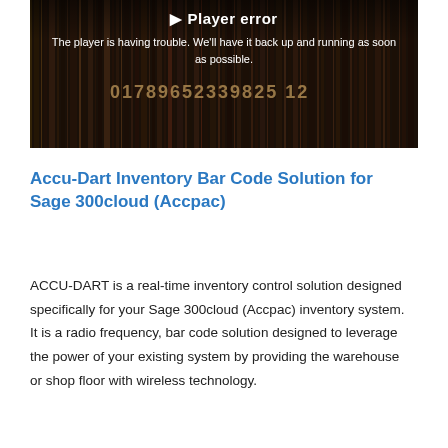[Figure (screenshot): A video player error screen with dark background showing blurred barcode imagery. Title reads 'Player error' and message reads 'The player is having trouble. We’ll have it back up and running as soon as possible.']
Accu-Dart Inventory Bar Code Solution for Sage 300cloud (Accpac)
ACCU-DART is a real-time inventory control solution designed specifically for your Sage 300cloud (Accpac) inventory system. It is a radio frequency, bar code solution designed to leverage the power of your existing system by providing the warehouse or shop floor with wireless technology.